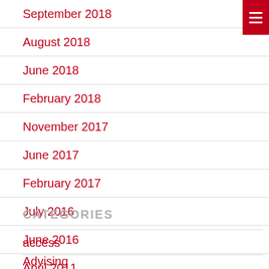September 2018
August 2018
June 2018
February 2018
November 2017
June 2017
February 2017
July 2016
June 2016
April 2011
CATEGORIES
access
Advising